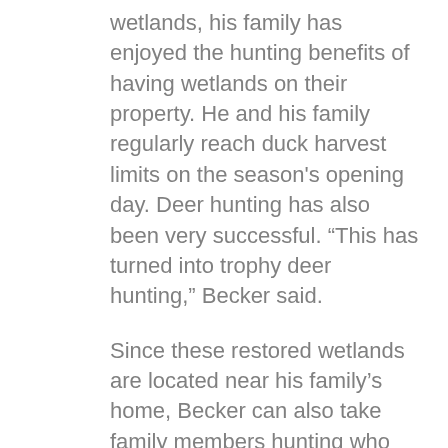wetlands, his family has enjoyed the hunting benefits of having wetlands on their property. He and his family regularly reach duck harvest limits on the season's opening day. Deer hunting has also been very successful. “This has turned into trophy deer hunting,” Becker said.
Since these restored wetlands are located near his family’s home, Becker can also take family members hunting who would not be able to travel far to hunt.
“My father doesn’t get around so well anymore, but because of what we have here, we can take him out and still go hunting,” Becker said.
Improved hunting is only one of the benefits Becker has seen to his property.
“The restoration started for the ducks. Then it